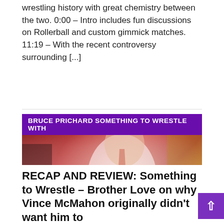wrestling history with great chemistry between the two. 0:00 – Intro includes fun discussions on Rollerball and custom gimmick matches. 11:19 – With the recent controversy surrounding [...]
[Figure (photo): Podcast cover art for 'Bruce Prichard Something to Wrestle With' showing a man in a white suit with red tie on a red background. Purple banner at top reads 'BRUCE PRICHARD SOMETHING TO WRESTLE WITH'. Stephanie Records watermark bottom right.]
RECAP AND REVIEW: Something to Wrestle – Brother Love on why Vince McMahon originally didn't want him to